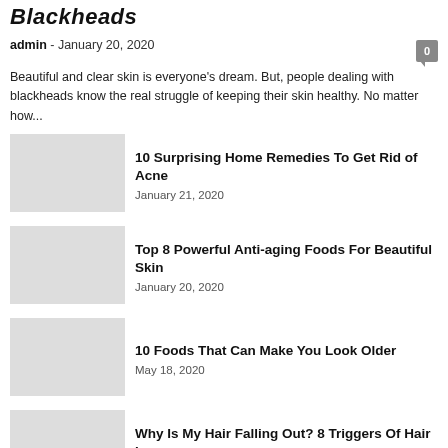Blackheads
admin  -  January 20, 2020    0
Beautiful and clear skin is everyone's dream. But, people dealing with blackheads know the real struggle of keeping their skin healthy. No matter how...
10 Surprising Home Remedies To Get Rid of Acne
January 21, 2020
Top 8 Powerful Anti-aging Foods For Beautiful Skin
January 20, 2020
10 Foods That Can Make You Look Older
May 18, 2020
Why Is My Hair Falling Out? 8 Triggers Of Hair Loss
March 5, 2021